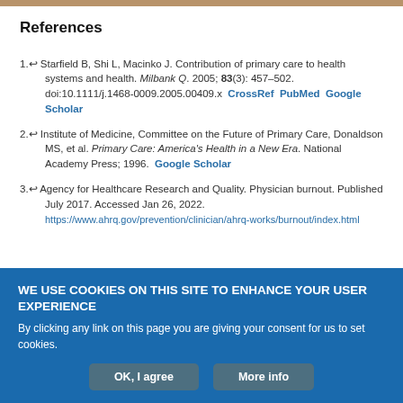References
1. Starfield B, Shi L, Macinko J. Contribution of primary care to health systems and health. Milbank Q. 2005; 83(3): 457–502. doi:10.1111/j.1468-0009.2005.00409.x CrossRef PubMed Google Scholar
2. Institute of Medicine, Committee on the Future of Primary Care, Donaldson MS, et al. Primary Care: America's Health in a New Era. National Academy Press; 1996. Google Scholar
3. Agency for Healthcare Research and Quality. Physician burnout. Published July 2017. Accessed Jan 26, 2022. https://www.ahrq.gov/prevention/clinician/ahrq-works/burnout/index.html
WE USE COOKIES ON THIS SITE TO ENHANCE YOUR USER EXPERIENCE
By clicking any link on this page you are giving your consent for us to set cookies.